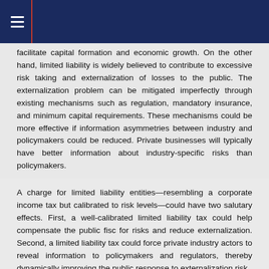facilitate capital formation and economic growth. On the other hand, limited liability is widely believed to contribute to excessive risk taking and externalization of losses to the public. The externalization problem can be mitigated imperfectly through existing mechanisms such as regulation, mandatory insurance, and minimum capital requirements. These mechanisms could be more effective if information asymmetries between industry and policymakers could be reduced. Private businesses will typically have better information about industry-specific risks than policymakers.
A charge for limited liability entities—resembling a corporate income tax but calibrated to risk levels—could have two salutary effects. First, a well-calibrated limited liability tax could help compensate the public fisc for risks and reduce externalization. Second, a limited liability tax could force private industry actors to reveal information to policymakers and regulators, thereby dynamically improving the public response to externalization risk.
Charging firms for limited liability will lead private firms to sort